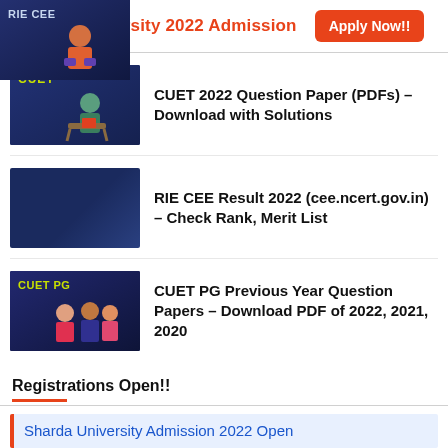Amity University 2022 Admission  Apply Now!!
[Figure (illustration): Thumbnail image with dark blue background showing 'CUET' label in yellow-green text and an illustrated student figure]
CUET 2022 Question Paper (PDFs) – Download with Solutions
[Figure (illustration): Thumbnail image with dark blue background showing 'RIE CEE' label and an illustrated figure]
RIE CEE Result 2022 (cee.ncert.gov.in) – Check Rank, Merit List
[Figure (illustration): Thumbnail image with dark blue background showing 'CUET PG' label and illustrated student figures]
CUET PG Previous Year Question Papers – Download PDF of 2022, 2021, 2020
Registrations Open!!
Sharda University Admission 2022 Open